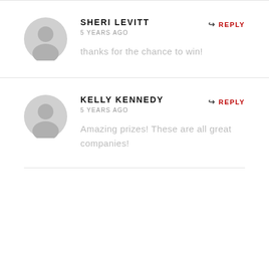SHERI LEVITT
5 YEARS AGO
thanks for the chance to win!
KELLY KENNEDY
5 YEARS AGO
Amazing prizes! These are all great companies!